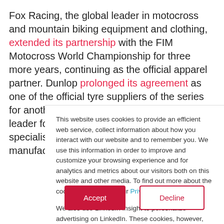Fox Racing, the global leader in motocross and mountain biking equipment and clothing, extended its partnership with the FIM Motocross World Championship for three more years, continuing as the official apparel partner. Dunlop prolonged its agreement as one of the official tyre suppliers of the series for another three years. Athena, the global leader for Engine Control Units; Wiseco, specialists in piston design and manufacturing:
This website uses cookies to provide an efficient web service, collect information about how you interact with our website and to remember you. We use this information in order to improve and customize your browsing experience and for analytics and metrics about our visitors both on this website and other media. To find out more about the cookies we use, see our Privacy Policy.

We also use LinkedIn Insight to personalize advertising on LinkedIn. These cookies, however, are subject to your consent.
Accept | Decline